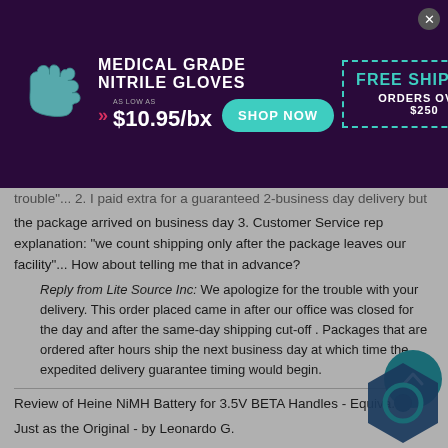[Figure (infographic): Advertisement banner for Medical Grade Nitrile Gloves showing a teal glove, price as low as $10.95/bx, Shop Now button, and Free Shipping on orders over $250 with dashed border]
...trouble"... 2. I paid extra for a guaranteed 2-business day delivery but the package arrived on business day 3. Customer Service rep explanation: "we count shipping only after the package leaves our facility"... How about telling me that in advance?
Reply from Lite Source Inc: We apologize for the trouble with your delivery. This order placed came in after our office was closed for the day and after the same-day shipping cut-off . Packages that are ordered after hours ship the next business day at which time the expedited delivery guarantee timing would begin.
Review of Heine NiMH Battery for 3.5V BETA Handles - Equiva...
Just as the Original - by Leonardo G.